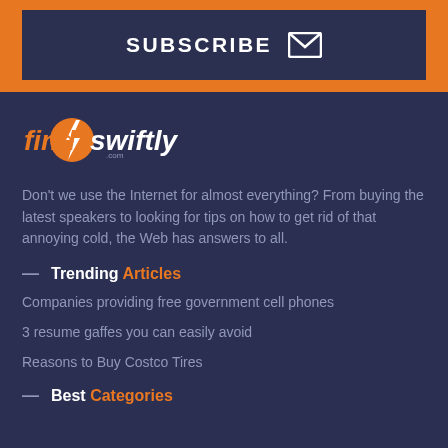[Figure (infographic): Orange banner with SUBSCRIBE button and envelope icon inside a dark navy bordered box]
[Figure (logo): FindSwiftly.com logo with lightning bolt icon in orange circle]
Don't we use the Internet for almost everything? From buying the latest speakers to looking for tips on how to get rid of that annoying cold, the Web has answers to all.
Trending Articles
Companies providing free government cell phones
3 resume gaffes you can easily avoid
Reasons to Buy Costco Tires
Best Categories